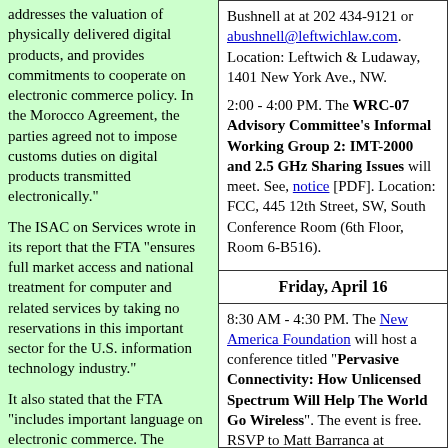addresses the valuation of physically delivered digital products, and provides commitments to cooperate on electronic commerce policy. In the Morocco Agreement, the parties agreed not to impose customs duties on digital products transmitted electronically."
The ISAC on Services wrote in its report that the FTA "ensures full market access and national treatment for computer and related services by taking no reservations in this important sector for the U.S. information technology industry."
It also stated that the FTA "includes important language on electronic commerce. The chapter maintains and slightly expands the standards for trade in electronic commerce...
Bushnell at at 202 434-9121 or abushnell@leftwichlaw.com. Location: Leftwich & Ludaway, 1401 New York Ave., NW.
2:00 - 4:00 PM. The WRC-07 Advisory Committee's Informal Working Group 2: IMT-2000 and 2.5 GHz Sharing Issues will meet. See, notice [PDF]. Location: FCC, 445 12th Street, SW, South Conference Room (6th Floor, Room 6-B516).
Friday, April 16
8:30 AM - 4:30 PM. The New America Foundation will host a conference titled "Pervasive Connectivity: How Unlicensed Spectrum Will Help The World Go Wireless". The event is free. RSVP to Matt Barranca at